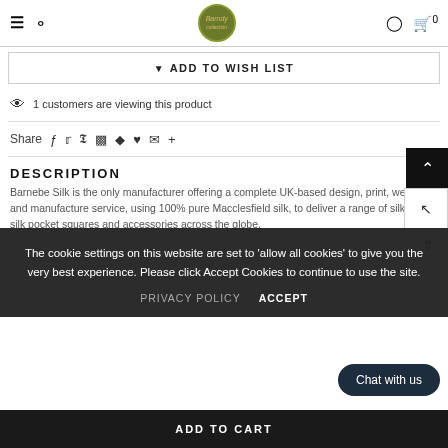Navigation header with menu, search, logo, account and cart icons
▼ ADD TO WISH LIST
1 customers are viewing this product
Share  f  t  P  ⊞  ♦  ♥  ✉  +
DESCRIPTION
Barnebe Silk is the only manufacturer offering a complete UK-based design, print, weave and manufacture service, using 100% pure Macclesfield silk, to deliver a range of silk ties, silk pocket squares and accessories across the globe.
The cookie settings on this website are set to 'allow all cookies' to give you the very best experience. Please click Accept Cookies to continue to use the site.
PRIVACY POLICY   ACCEPT
Chat with us
ADD TO CART